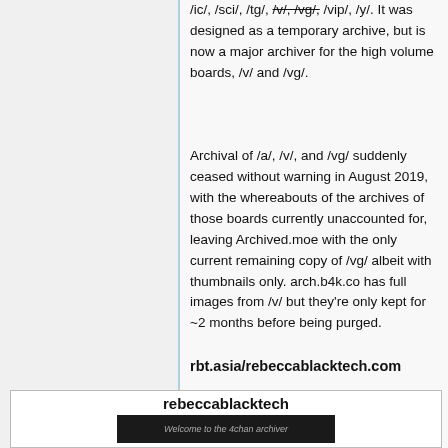/ic/, /sci/, /tg/, /v/, /vg/, /vip/, /y/. It was designed as a temporary archive, but is now a major archiver for the high volume boards, /v/ and /vg/.
Archival of /a/, /v/, and /vg/ suddenly ceased without warning in August 2019, with the whereabouts of the archives of those boards currently unaccounted for, leaving Archived.moe with the only current remaining copy of /vg/ albeit with thumbnails only. arch.b4k.co has full images from /v/ but they're only kept for ~2 months before being purged.
rbt.asia/rebeccablacktech.com
[Figure (screenshot): Screenshot card for rebeccablacktech website showing a dark background with text 'Welcome to the 4chan archiver']